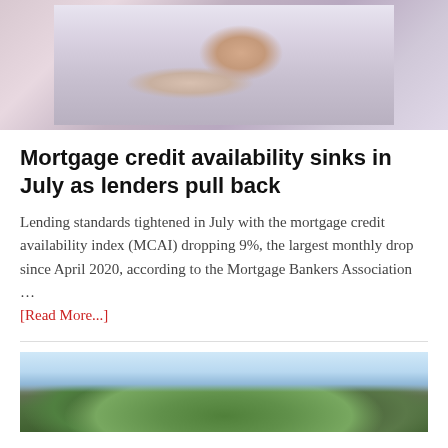[Figure (photo): Person's hand using a calculator on a desk, with documents in background]
Mortgage credit availability sinks in July as lenders pull back
Lending standards tightened in July with the mortgage credit availability index (MCAI) dropping 9%, the largest monthly drop since April 2020, according to the Mortgage Bankers Association … [Read More...]
[Figure (photo): Landscape photo showing green trees and cloudy sky]